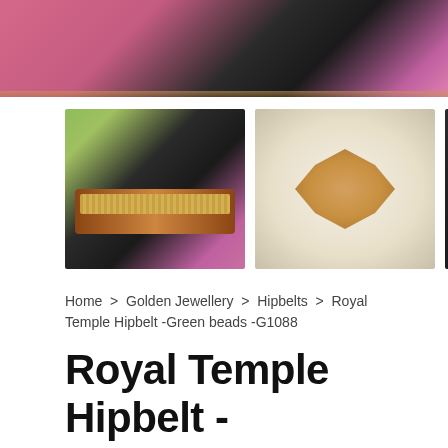[Figure (photo): Main product image showing royal temple hipbelt with pink/magenta fabric and dark background with gold trim]
[Figure (photo): Thumbnail 1: Hipbelt on dark background with pink fabric, showing brown-gold beaded belt]
[Figure (photo): Thumbnail 2: Close-up of gold jewelled hipbelt centerpiece on light background]
[Figure (photo): Thumbnail 3: Hipbelt on dark background with pink fabric]
Home > Golden Jewellery > Hipbelts > Royal Temple Hipbelt -Green beads -G1088
Royal Temple Hipbelt - Green beads -G1088
₹5,899.00